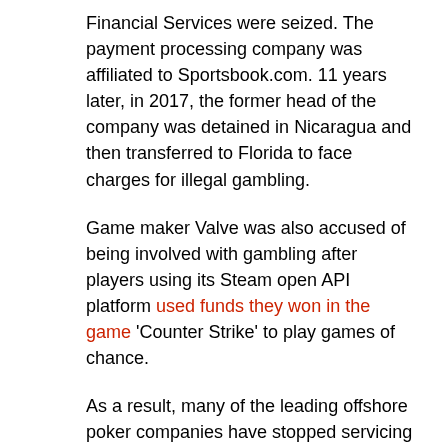Financial Services were seized. The payment processing company was affiliated to Sportsbook.com. 11 years later, in 2017, the former head of the company was detained in Nicaragua and then transferred to Florida to face charges for illegal gambling.
Game maker Valve was also accused of being involved with gambling after players using its Steam open API platform used funds they won in the game 'Counter Strike' to play games of chance.
As a result, many of the leading offshore poker companies have stopped servicing the state. There are a few select platforms that still run the gauntlet, but online poker options are few and far between for residents of Washington.
The history of gambling in